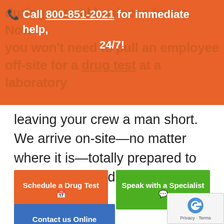Call 800-851-2021 for immediate help, 24/7!
leaving your crew a man short. We arrive on-site—no matter where it is—totally prepared to professionally administer the test.
Schedule a Drug Test
Speak with a Specialist
Contact us Online